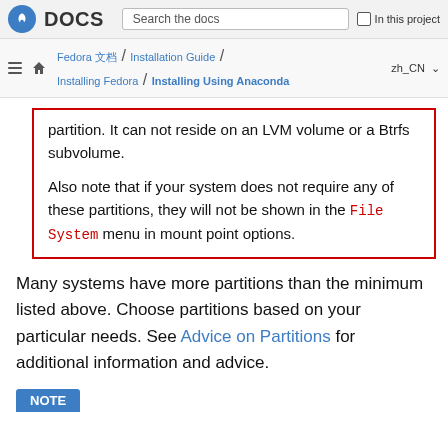DOCS | Search the docs | In this project
Fedora 文档 / Installation Guide / Installing Fedora / Installing Using Anaconda | zh_CN
partition. It can not reside on an LVM volume or a Btrfs subvolume.

Also note that if your system does not require any of these partitions, they will not be shown in the File System menu in mount point options.
Many systems have more partitions than the minimum listed above. Choose partitions based on your particular needs. See Advice on Partitions for additional information and advice.
NOTE